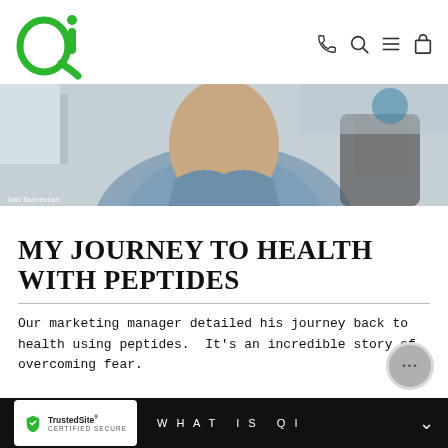[Figure (logo): Qi brand logo — stylized green Q with green dot i]
[Figure (photo): Screenshot of a video call showing a person in a blue/grey shirt seated at a desk with a chair visible in the background. Label reads 'Max Bannerman' at bottom left.]
MY JOURNEY TO HEALTH WITH PEPTIDES
Our marketing manager detailed his journey back to health using peptides.  It's an incredible story of overcoming fear.
TrustedSite CERTIFIED SECURE    WHAT IS QI